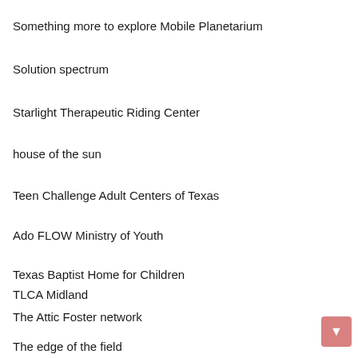Something more to explore Mobile Planetarium
Solution spectrum
Starlight Therapeutic Riding Center
house of the sun
Teen Challenge Adult Centers of Texas
Ado FLOW Ministry of Youth
Texas Baptist Home for Children
TLCA Midland
The Attic Foster network
The edge of the field
The HORSE Center